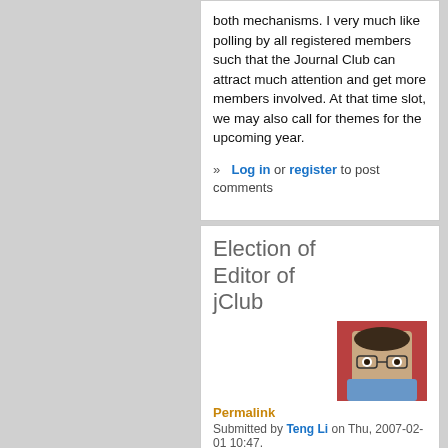both mechanisms. I very much like polling by all registered members such that the Journal Club can attract much attention and get more members involved. At that time slot, we may also call for themes for the upcoming year.
» Log in or register to post comments
Election of Editor of jClub
[Figure (photo): Headshot of Teng Li, a man wearing glasses and a blue shirt, with a red background.]
Permalink
Submitted by Teng Li on Thu, 2007-02-01 10:47.
I also prefer a poll open to all register users for voting the new editor of jClub next year. An election in July will allow the newly elected editor to get involved and familiar with jClub before her inauguration. This is especially important if the elected editor is not...